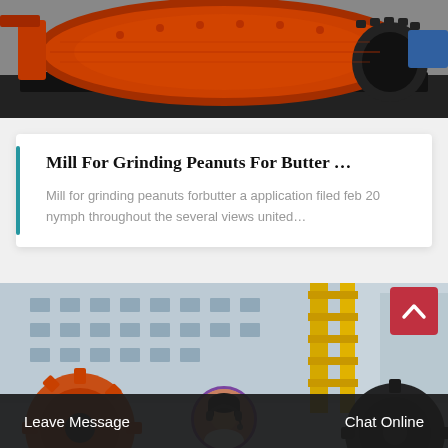[Figure (photo): Orange/red industrial grinding mill machinery on a black metal frame in a factory setting]
Mill For Grinding Peanuts For Butter …
Mill for grinding peanuts forbutter a application filed feb 20 nymph throughout the several views united…
[Figure (photo): Industrial factory setting with yellow crane structure, building facade, and large orange and dark gear wheels visible, with a customer service representative avatar overlay]
Leave Message
Chat Online